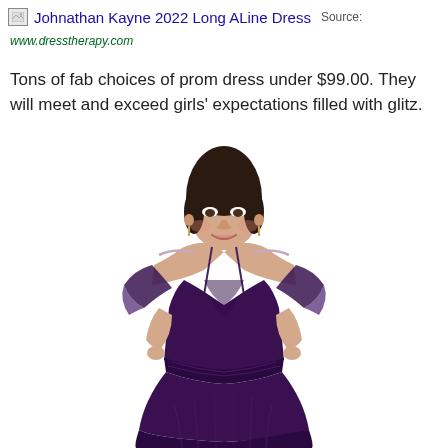Johnathan Kayne 2022 Long ALine Dress  Source:
www.dresstherapy.com
Tons of fab choices of prom dress under $99.00. They will meet and exceed girls' expectations filled with glitz.
[Figure (photo): A woman wearing a long dark purple off-shoulder A-line chiffon dress with spaghetti straps and flutter sleeves, photographed against a white background.]